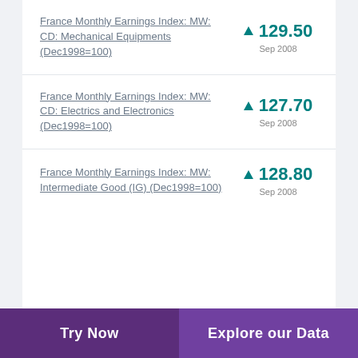France Monthly Earnings Index: MW: CD: Mechanical Equipments (Dec1998=100)
France Monthly Earnings Index: MW: CD: Electrics and Electronics (Dec1998=100)
France Monthly Earnings Index: MW: Intermediate Good (IG) (Dec1998=100)
Try Now | Explore our Data